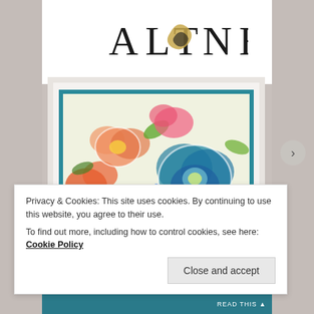[Figure (logo): ALTENEW brand logo with stylized swirl in the letter O]
[Figure (photo): Colorful floral card craft project with vibrant watercolor flowers in pink, purple, teal, yellow, and orange on white background with teal border]
Privacy & Cookies: This site uses cookies. By continuing to use this website, you agree to their use.
To find out more, including how to control cookies, see here: Cookie Policy
Close and accept